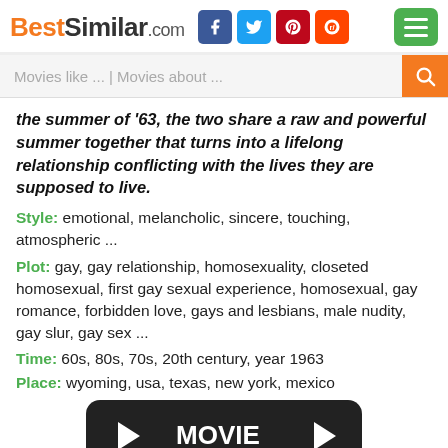BestSimilar.com
the summer of '63, the two share a raw and powerful summer together that turns into a lifelong relationship conflicting with the lives they are supposed to live.
Style: emotional, melancholic, sincere, touching, atmospheric ...
Plot: gay, gay relationship, homosexuality, closeted homosexual, first gay sexual experience, homosexual, gay romance, forbidden love, gays and lesbians, male nudity, gay slur, gay sex ...
Time: 60s, 80s, 70s, 20th century, year 1963
Place: wyoming, usa, texas, new york, mexico
[Figure (other): Dark rounded rectangle button with play arrow icons and MOVIE text]
Cookies help us deliver our services. By using our website or clicking "Accept", you agree to our use of cookies as described in our Privacy Policy.